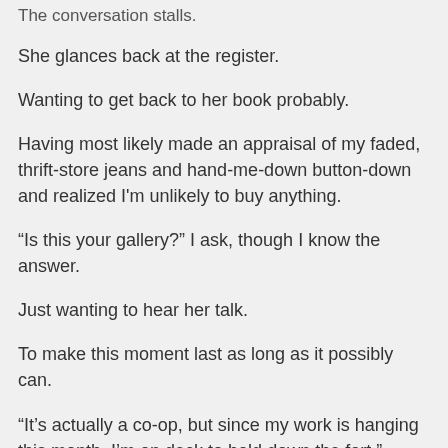The conversation stalls.
She glances back at the register.
Wanting to get back to her book probably.
Having most likely made an appraisal of my faded, thrift-store jeans and hand-me-down button-down and realized I'm unlikely to buy anything.
“Is this your gallery?” I ask, though I know the answer.
Just wanting to hear her talk.
To make this moment last as long as it possibly can.
“It’s actually a co-op, but since my work is hanging this month, I’m on deck to hold down the fort.”
She smiles.
Only politely.